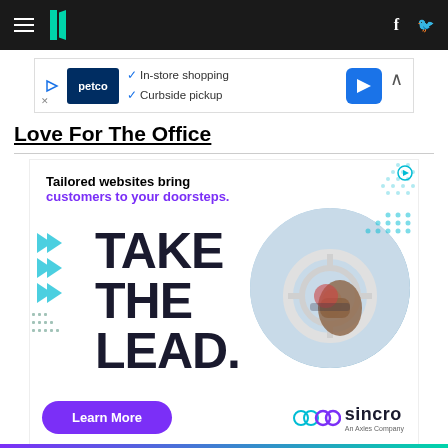HuffPost navigation bar with hamburger menu, logo, facebook and twitter icons
[Figure (advertisement): Petco advertisement banner: In-store shopping, Curbside pickup, with navigation icon]
Love For The Office
[Figure (advertisement): Sincro advertisement: Tailored websites bring customers to your doorsteps. TAKE THE LEAD. Learn More button. Sincro An Axles Company logo. Features arrows, dotted patterns, and circular car steering wheel photo.]
Bottom gradient bar purple to teal